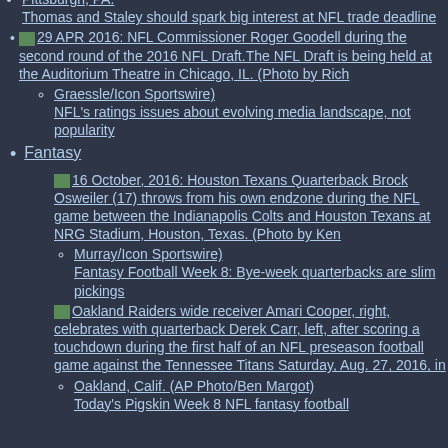Pittsburgh, PA. Thomas and Staley should spark big interest at NFL trade deadline
29 APR 2016: NFL Commissioner Roger Goodell during the second round of the 2016 NFL Draft.The NFL Draft is being held at the Auditorium Theatre in Chicago, IL. (Photo by Rich Graessle/Icon Sportswire) NFL's ratings issues about evolving media landscape, not popularity
Fantasy
16 October, 2016: Houston Texans Quarterback Brock Osweiler (17) throws from his own endzone during the NFL game between the Indianapolis Colts and Houston Texans at NRG Stadium, Houston, Texas. (Photo by Ken Murray/Icon Sportswire) Fantasy Football Week 8: Bye-week quarterbacks are slim pickings
Oakland Raiders wide receiver Amari Cooper, right, celebrates with quarterback Derek Carr, left, after scoring a touchdown during the first half of an NFL preseason football game against the Tennessee Titans Saturday, Aug. 27, 2016, in Oakland, Calif. (AP Photo/Ben Margot) Today's Pigskin Week 8 NFL fantasy football